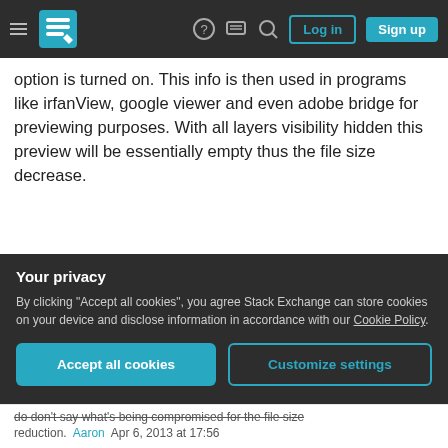Stack Exchange navigation bar with hamburger menu, logo, help, chat, search icons, Log in and Sign up buttons
option is turned on. This info is then used in programs like irfanView, google viewer and even adobe bridge for previewing purposes. With all layers visibility hidden this preview will be essentially empty thus the file size decrease.
You can turn off maximize compatibility in preferences > file handling
Share
Improve this answer
answered Apr 6, 2013 at 17:49
Patareco
146  2
Your privacy
By clicking "Accept all cookies", you agree Stack Exchange can store cookies on your device and disclose information in accordance with our Cookie Policy.
Accept all cookies    Customize settings
do don't say what's being compromised for the file size reduction.  Aaron  Apr 6, 2013 at 17:56